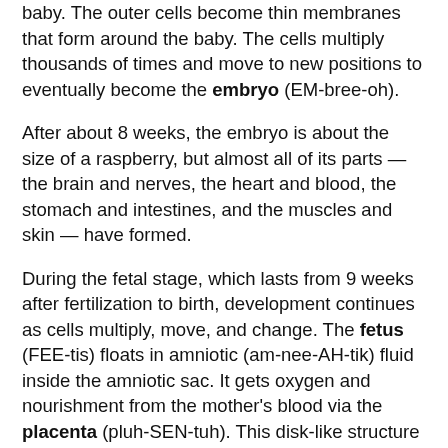baby. The outer cells become thin membranes that form around the baby. The cells multiply thousands of times and move to new positions to eventually become the embryo (EM-bree-oh).
After about 8 weeks, the embryo is about the size of a raspberry, but almost all of its parts — the brain and nerves, the heart and blood, the stomach and intestines, and the muscles and skin — have formed.
During the fetal stage, which lasts from 9 weeks after fertilization to birth, development continues as cells multiply, move, and change. The fetus (FEE-tis) floats in amniotic (am-nee-AH-tik) fluid inside the amniotic sac. It gets oxygen and nourishment from the mother's blood via the placenta (pluh-SEN-tuh). This disk-like structure sticks to the inner lining of the uterus and connects to the fetus via the umbilical (um-BIL-ih-kul)